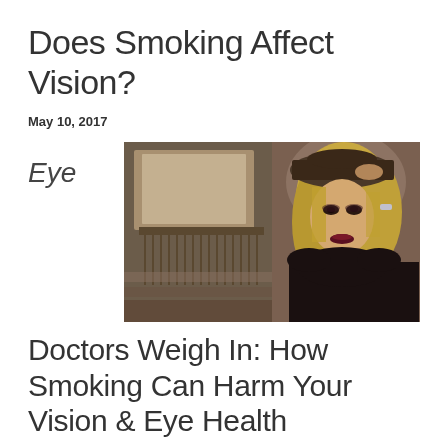Does Smoking Affect Vision?
May 10, 2017
Eye
[Figure (photo): A blonde woman wearing a dark hat and dark clothing, holding her hat brim, posing in a stylized portrait setting with architectural background]
Doctors Weigh In: How Smoking Can Harm Your Vision & Eye Health
We all know that smoking is bad for you, especially the risks that it poses to your heart and lungs. What many people do not know is that cigarette smoke negatively affects your eyes and